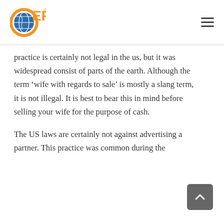GEPT
practice is certainly not legal in the us, but it was widespread consist of parts of the earth. Although the term ‘wife with regards to sale’ is mostly a slang term, it is not illegal. It is best to bear this in mind before selling your wife for the purpose of cash.
The US laws are certainly not against advertising a partner. This practice was common during the